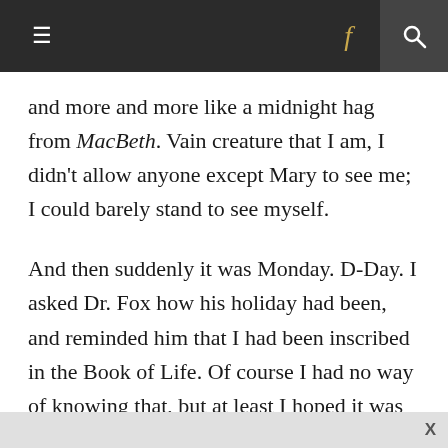≡  f  🔍
and more and more like a midnight hag from MacBeth. Vain creature that I am, I didn't allow anyone except Mary to see me; I could barely stand to see myself.
And then suddenly it was Monday. D-Day. I asked Dr. Fox how his holiday had been, and reminded him that I had been inscribed in the Book of Life. Of course I had no way of knowing that, but at least I hoped it was true.
The procedure lasted three hours and I